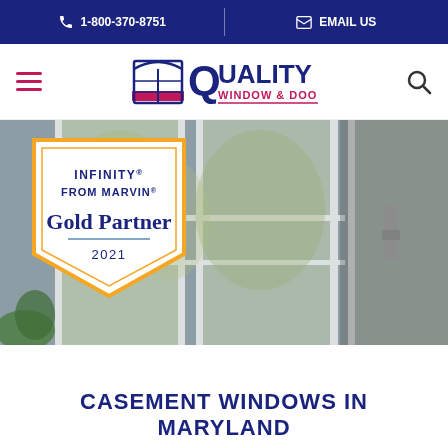1-800-370-8751 | EMAIL US
[Figure (logo): Quality Window & Door logo with window icon, navy blue and magenta text]
[Figure (photo): Interior photo showing white casement windows with a view of trees outside; overlaid with Infinity from Marvin Gold Partner 2021 badge]
CASEMENT WINDOWS IN MARYLAND